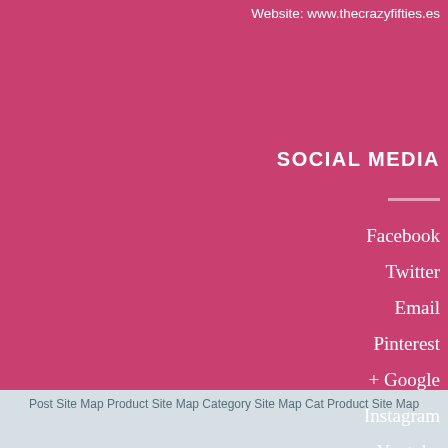Website: www.thecrazyfifties.es
SOCIAL MEDIA
Facebook
Twitter
Email
Pinterest
+ Google
Instagram
Youtube
Post Site Map Product Site Map Category Site Map Cat Product Site Map